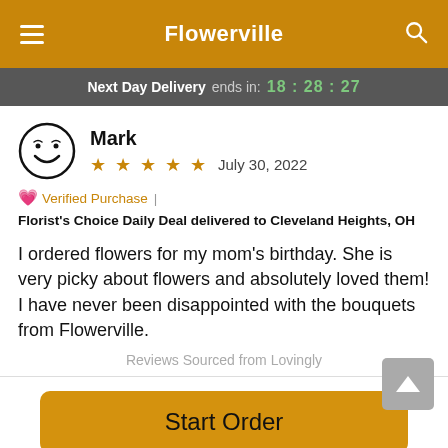Flowerville
Next Day Delivery ends in: 18:28:27
Mark
★★★★★ July 30, 2022
💗 Verified Purchase | Florist's Choice Daily Deal delivered to Cleveland Heights, OH
I ordered flowers for my mom's birthday. She is very picky about flowers and absolutely loved them! I have never been disappointed with the bouquets from Flowerville.
Reviews Sourced from Lovingly
Start Order